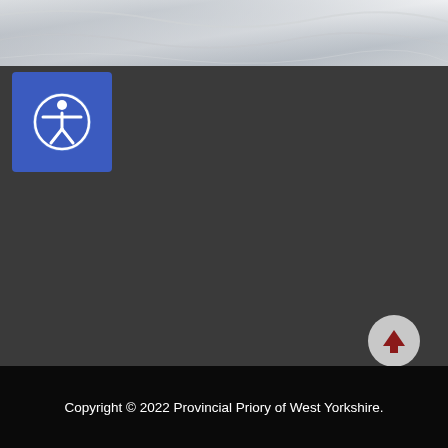[Figure (photo): Top banner showing a white/grey draped fabric or flag texture]
[Figure (other): Blue square accessibility icon button with white person-in-circle symbol]
[Figure (other): Grey circular scroll-to-top button with dark red upward arrow]
Copyright © 2022 Provincial Priory of West Yorkshire.